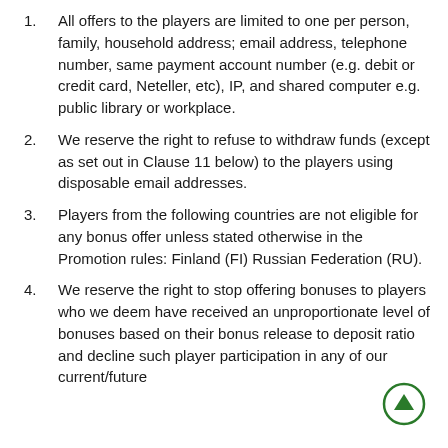All offers to the players are limited to one per person, family, household address; email address, telephone number, same payment account number (e.g. debit or credit card, Neteller, etc), IP, and shared computer e.g. public library or workplace.
We reserve the right to refuse to withdraw funds (except as set out in Clause 11 below) to the players using disposable email addresses.
Players from the following countries are not eligible for any bonus offer unless stated otherwise in the Promotion rules: Finland (FI) Russian Federation (RU).
We reserve the right to stop offering bonuses to players who we deem have received an unproportionate level of bonuses based on their bonus release to deposit ratio and decline such player participation in any of our current/future